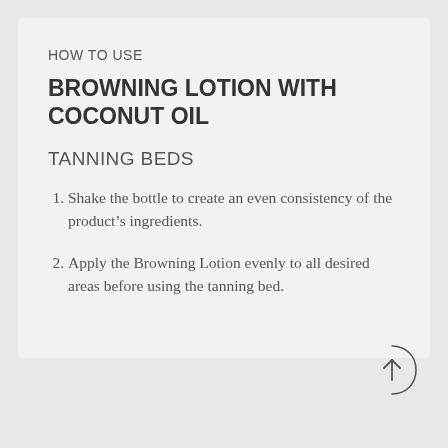HOW TO USE
BROWNING LOTION WITH COCONUT OIL
TANNING BEDS
Shake the bottle to create an even consistency of the product's ingredients.
Apply the Browning Lotion evenly to all desired areas before using the tanning bed.